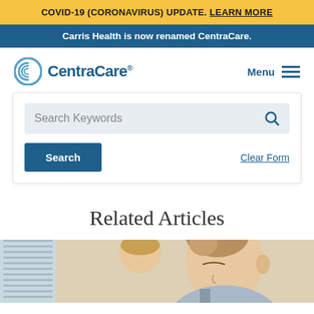COVID-19 (CORONAVIRUS) UPDATE. LEARN MORE
Carris Health is now renamed CentraCare.
[Figure (logo): CentraCare logo with circular C icon and text 'CentraCare' with registered trademark symbol]
Menu
Search Keywords
Search
Clear Form
Related Articles
[Figure (photo): Photo of a woman with hair up, eyes closed, another person partially visible in background, indoor setting with window blinds]